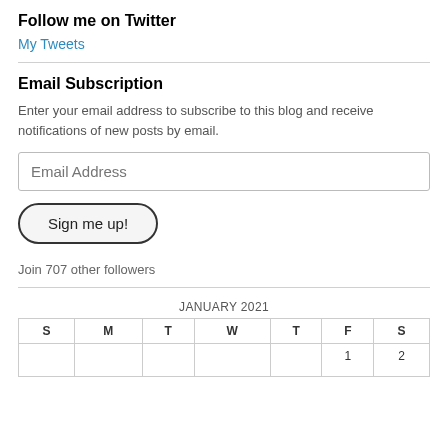Follow me on Twitter
My Tweets
Email Subscription
Enter your email address to subscribe to this blog and receive notifications of new posts by email.
Email Address
Sign me up!
Join 707 other followers
JANUARY 2021
| S | M | T | W | T | F | S |
| --- | --- | --- | --- | --- | --- | --- |
|  |  |  |  |  | 1 | 2 |